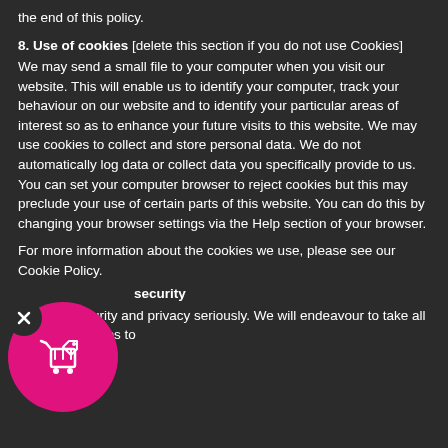the end of this policy.
8. Use of cookies [delete this section if you do not use Cookies]
We may send a small file to your computer when you visit our website. This will enable us to identify your computer, track your behaviour on our website and to identify your particular areas of interest so as to enhance your future visits to this website. We may use cookies to collect and store personal data. We do not automatically log data or collect data you specifically provide to us. You can set your computer browser to reject cookies but this may preclude your use of certain parts of this website. You can do this by changing your browser settings via the Help section of your browser.
For more information about the cookies we use, please see our Cookie Policy.
security
We take security and privacy seriously. We will endeavour to take all reasonable steps to
[Figure (illustration): Pink circle icon with a shopping cart/tag symbol, overlaid with a dark circle containing an X mark in the bottom-left area of the page]